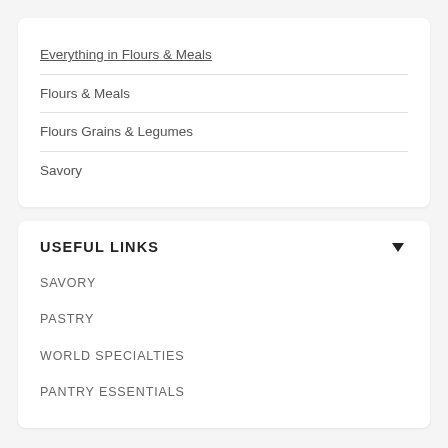Everything in Flours & Meals
Flours & Meals
Flours Grains & Legumes
Savory
USEFUL LINKS
SAVORY
PASTRY
WORLD SPECIALTIES
PANTRY ESSENTIALS